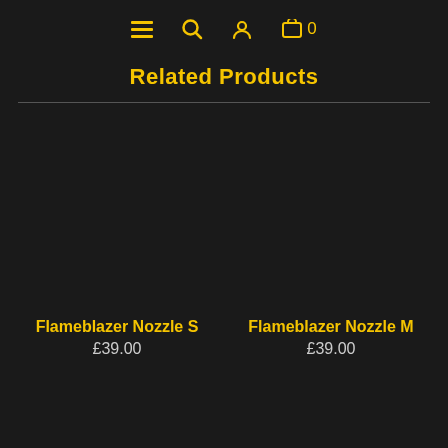Navigation bar with menu, search, account, and cart icons
Related Products
Flameblazer Nozzle S £39.00
Flameblazer Nozzle M £39.00